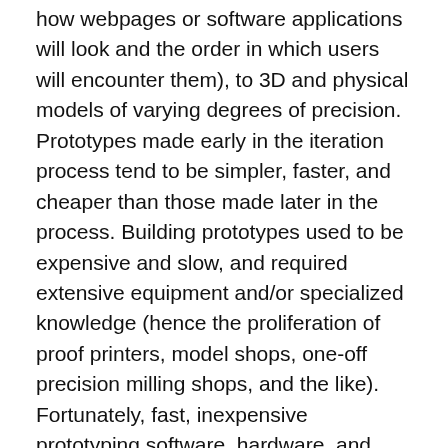how webpages or software applications will look and the order in which users will encounter them), to 3D and physical models of varying degrees of precision. Prototypes made early in the iteration process tend to be simpler, faster, and cheaper than those made later in the process. Building prototypes used to be expensive and slow, and required extensive equipment and/or specialized knowledge (hence the proliferation of proof printers, model shops, one-off precision milling shops, and the like). Fortunately, fast, inexpensive prototyping software, hardware, and facilities are becoming increasingly available. Fast, inexpensive prototyping accelerates the design iteration process significantly, since prototypes are frequently the source of rich insights for designers, particularly in fine-tuning elements of the product